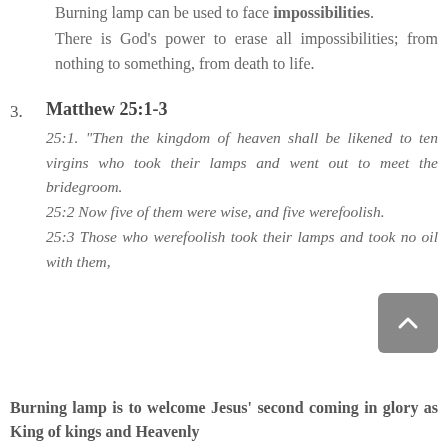Burning lamp can be used to face impossibilities. There is God's power to erase all impossibilities; from nothing to something, from death to life.
3. Matthew 25:1-3
25:1. "Then the kingdom of heaven shall be likened to ten virgins who took their lamps and went out to meet the bridegroom.
25:2 Now five of them were wise, and five werefoolish.
25:3 Those who werefoolish took their lamps and took no oil with them,
Burning lamp is to welcome Jesus' second coming in glory as King of kings and Heavenly